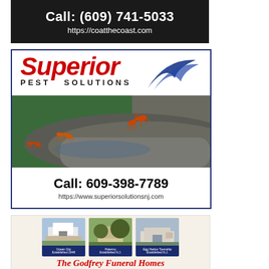[Figure (advertisement): Dark background ad showing 'Call: (609) 741-5033' and 'https://coatthecoast.com']
[Figure (advertisement): Superior Pest Solutions ad with red italic logo, blue swoosh, ant photo, phone 609-398-7789, and website https://www.superiorsolutionsnj.com]
[Figure (advertisement): The Godfrey Funeral Homes ad with three location cards (Ocean City, Palermo, Egg Harbor Township) and italic red title]